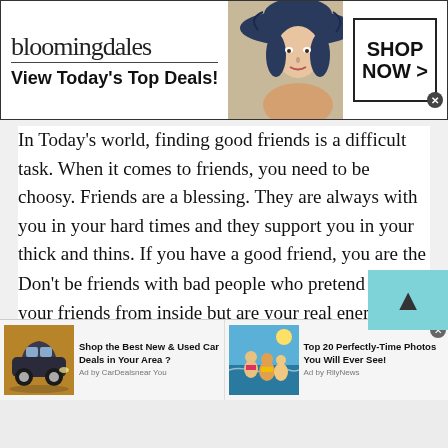[Figure (screenshot): Bloomingdale's banner advertisement with logo, 'View Today's Top Deals!' tagline, model wearing hat, and 'SHOP NOW >' call-to-action button]
In Today's world, finding good friends is a difficult task. When it comes to friends, you need to be choosy. Friends are a blessing. They are always with you in your hard times and they support you in your thick and thins. If you have a good friend, you are the luckiest person on earth.
Don't be friends with bad people who pretend to be your friends from inside but are your real enemies from inside. These people can harm you so always choose good friends that are sincere with you and enjoy a good company.
[Figure (screenshot): Two bottom advertisement banners: 'Shop the Best New & Used Car Deals in Your Area?' by CarDealsnear You, and 'Top 20 Perfectly-Time Photos You Will Ever See!' by RilyNews]